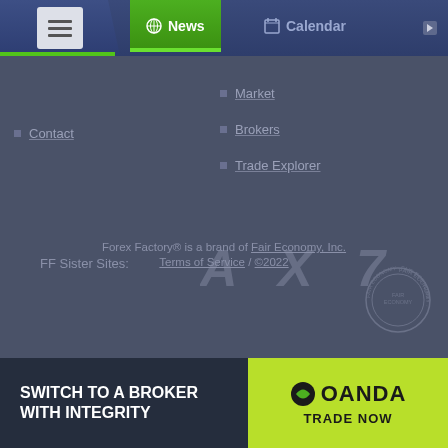News | Calendar
Contact
Market
Brokers
Trade Explorer
FF Sister Sites:
[Figure (logo): Three sister site logos: FuturesFactory (Af), FX (X styled), and another brand (7 styled), displayed in muted gray]
Forex Factory® is a brand of Fair Economy, Inc. Terms of Service / ©2022
[Figure (logo): Fair Economy circular seal watermark]
[Figure (illustration): OANDA broker advertisement banner: 'SWITCH TO A BROKER WITH INTEGRITY' on left, OANDA logo and 'TRADE NOW' on green right side]